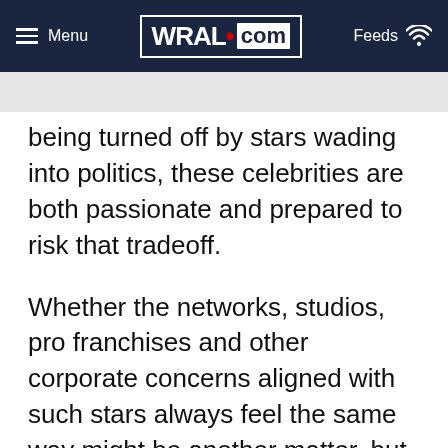Menu | WRAL.com | Feeds
being turned off by stars wading into politics, these celebrities are both passionate and prepared to risk that tradeoff.
Whether the networks, studios, pro franchises and other corporate concerns aligned with such stars always feel the same way might be another matter, but ultimately, those entities need talent. So a